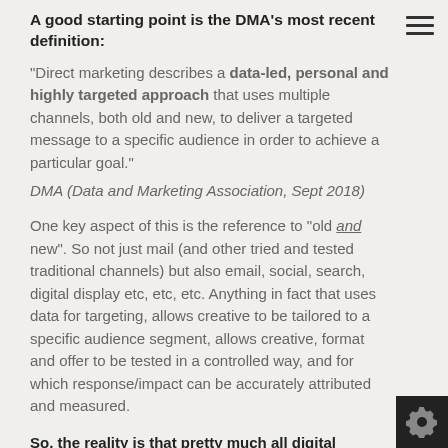A good starting point is the DMA's most recent definition:
"Direct marketing describes a data-led, personal and highly targeted approach that uses multiple channels, both old and new, to deliver a targeted message to a specific audience in order to achieve a particular goal."
DMA (Data and Marketing Association, Sept 2018)
One key aspect of this is the reference to "old and new". So not just mail (and other tried and tested traditional channels) but also email, social, search, digital display etc, etc, etc. Anything in fact that uses data for targeting, allows creative to be tailored to a specific audience segment, allows creative, format and offer to be tested in a controlled way, and for which response/impact can be accurately attributed and measured.
So, the reality is that pretty much all digital marketing is in fact (drum roll)... direct marketing. This may not be n